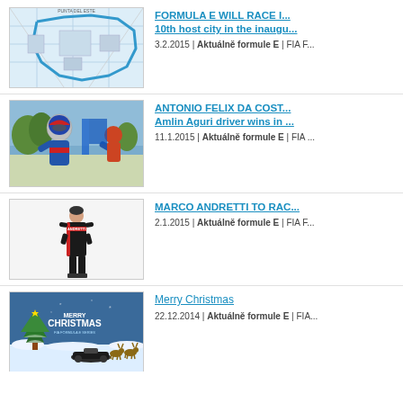[Figure (photo): Aerial map/circuit plan with blue route overlay]
FORMULA E WILL RACE I... 10th host city in the inaugu...
3.2.2015 | Aktuálně formule E | FIA F...
[Figure (photo): Antonio Felix da Costa celebrating victory in race suit]
ANTONIO FELIX DA COST... Amlin Aguri driver wins in ...
11.1.2015 | Aktuálně formule E | FIA ...
[Figure (photo): Marco Andretti standing in race suit on white background]
MARCO ANDRETTI TO RAC...
2.1.2015 | Aktuálně formule E | FIA F...
[Figure (photo): Merry Christmas promotional image with snow, reindeer and Formula E car]
Merry Christmas
22.12.2014 | Aktuálně formule E | FIA...